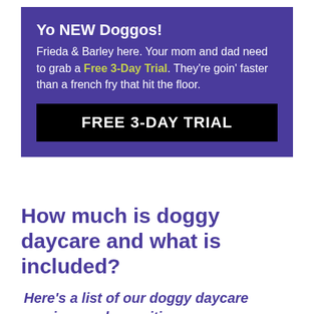Yo NEW Doggos!
Frieda & Barley here. Your mom and dad need to grab a Free 3-Day Trial. They're goin' faster than a french fry that hit the floor.
FREE 3-DAY TRIAL
How much is doggy daycare and what is included?
Here's a list of our doggy daycare services and amenities: